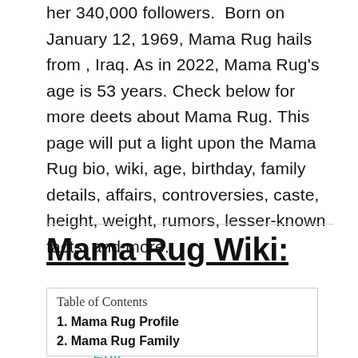her 340,000 followers.  Born on January 12, 1969, Mama Rug hails from , Iraq. As in 2022, Mama Rug's age is 53 years. Check below for more deets about Mama Rug. This page will put a light upon the Mama Rug bio, wiki, age, birthday, family details, affairs, controversies, caste, height, weight, rumors, lesser-known facts, and more.
Edit Profile
Mama Rug Wiki:
| Table of Contents |
| 1. Mama Rug Profile |
| 2. Mama Rug Family |